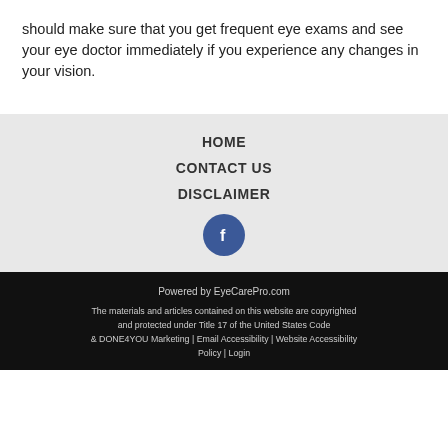should make sure that you get frequent eye exams and see your eye doctor immediately if you experience any changes in your vision.
HOME
CONTACT US
DISCLAIMER
[Figure (logo): Facebook icon — blue circle with white 'f' letter]
Powered by EyeCarePro.com
The materials and articles contained on this website are copyrighted and protected under Title 17 of the United States Code & DONE4YOU Marketing | Email Accessibility | Website Accessibility Policy | Login